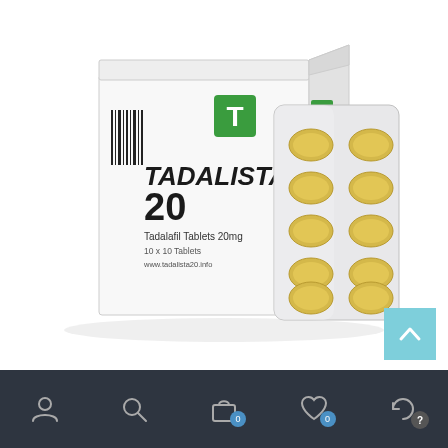[Figure (photo): Product photo of Tadalista 20 medicine box and blister pack. The white box displays 'TADALISTA 20' in bold black text with a green 'T' logo, 'Tadalafil Tablets 20mg', '10 x 10 Tablets', and website 'www.tadalista20.info'. Next to the box is a silver blister pack containing 10 yellow oval tablets arranged in a 2x5 grid.]
[Figure (other): Light blue scroll-to-top button with upward chevron arrow, positioned bottom-right of main content area.]
[Figure (other): Dark navigation bar at bottom with 5 icons: user/account, search, shopping bag with badge '0', heart/wishlist with badge '0', and compare/refresh with a help badge.]